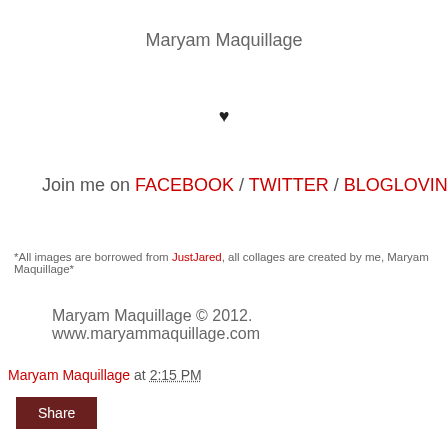Maryam Maquillage
♥
Join me on FACEBOOK / TWITTER / BLOGLOVIN
*All images are borrowed from JustJared, all collages are created by me, Maryam Maquillage*
Maryam Maquillage © 2012. www.maryammaquillage.com
Maryam Maquillage at 2:15 PM
Share
30 comments: